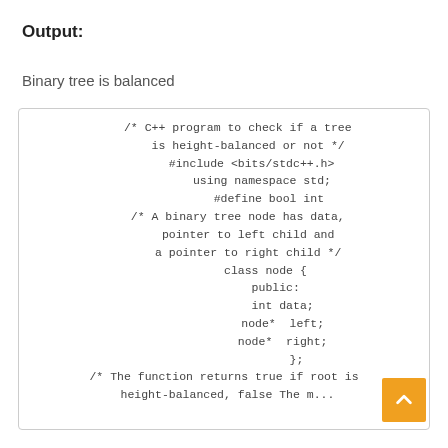Output:
Binary tree is balanced
/* C++ program to check if a tree
   is height-balanced or not */
#include <bits/stdc++.h>
using namespace std;
#define bool int
/* A binary tree node has data,
   pointer to left child and
   a pointer to right child */
class node {
public:
    int data;
    node*  left;
    node*  right;
};
/* The function returns true if root is
   height-balanced, false The m...